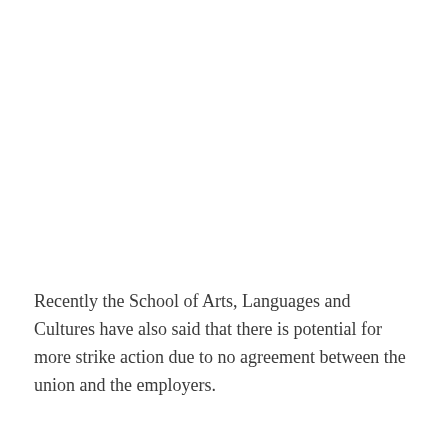Recently the School of Arts, Languages and Cultures have also said that there is potential for more strike action due to no agreement between the union and the employers.